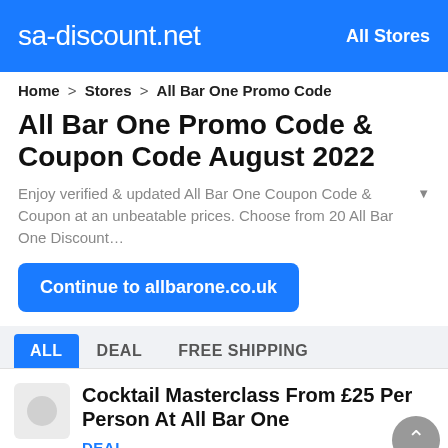sa-discount.net   All Stores
Home > Stores > All Bar One Promo Code
All Bar One Promo Code & Coupon Code August 2022
Enjoy verified & updated All Bar One Coupon Code & Coupon at an unbeatable prices. Choose from 20 All Bar One Discount…
Continue to allbarone.co.uk
ALL   DEAL   FREE SHIPPING
Cocktail Masterclass From £25 Per Person At All Bar One
DEAL